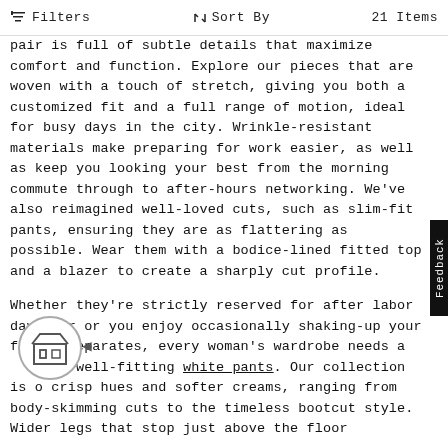Filters   Sort By   21 Items
pair is full of subtle details that maximize comfort and function. Explore our pieces that are woven with a touch of stretch, giving you both a customized fit and a full range of motion, ideal for busy days in the city. Wrinkle-resistant materials make preparing for work easier, as well as keep you looking your best from the morning commute through to after-hours networking. We've also reimagined well-loved cuts, such as slim-fit pants, ensuring they are as flattering as possible. Wear them with a bodice-lined fitted top and a blazer to create a sharply cut profile.
Whether they're strictly reserved for after labor day wear or you enjoy occasionally shaking-up your formal separates, every woman's wardrobe needs a well-fitting white pants. Our collection is o crisp hues and softer creams, ranging from body-skimming cuts to the timeless bootcut style. Wider legs that stop just above the floor